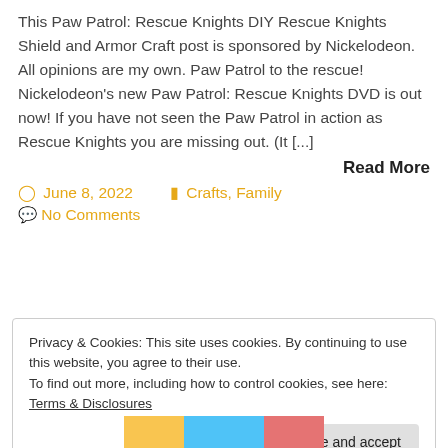This Paw Patrol: Rescue Knights DIY Rescue Knights Shield and Armor Craft post is sponsored by Nickelodeon. All opinions are my own. Paw Patrol to the rescue! Nickelodeon's new Paw Patrol: Rescue Knights DVD is out now! If you have not seen the Paw Patrol in action as Rescue Knights you are missing out. (It [...]
Read More
June 8, 2022   Crafts, Family
No Comments
Privacy & Cookies: This site uses cookies. By continuing to use this website, you agree to their use.
To find out more, including how to control cookies, see here: Terms & Disclosures
Close and accept
[Figure (photo): Partial image at bottom of page showing colorful Paw Patrol themed artwork]